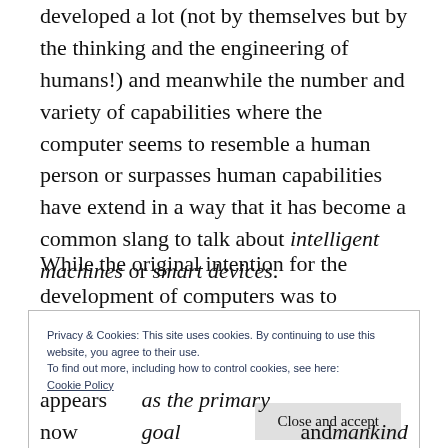developed a lot (not by themselves but by the thinking and the engineering of humans!) and meanwhile the number and variety of capabilities where the computer seems to resemble a human person or surpasses human capabilities have extend in a way that it has become a common slang to talk about intelligent machines or smart devices.
While the original intention for the development of computers was to improve the
Privacy & Cookies: This site uses cookies. By continuing to use this website, you agree to their use.
To find out more, including how to control cookies, see here:
Cookie Policy
Close and accept
appears now as the primary goal and mankind